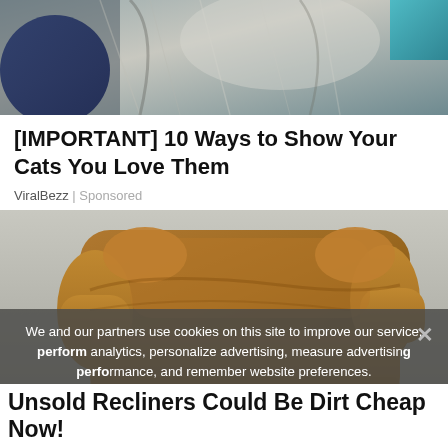[Figure (photo): Close-up photo of a cat with grey and white fur, with blue fabric visible]
[IMPORTANT] 10 Ways to Show Your Cats You Love Them
ViralBezz | Sponsored
[Figure (photo): Brown suede recliner chair on white background]
We and our partners use cookies on this site to improve our service, perform analytics, personalize advertising, measure advertising performance, and remember website preferences.
Unsold Recliners Could Be Dirt Cheap Now!